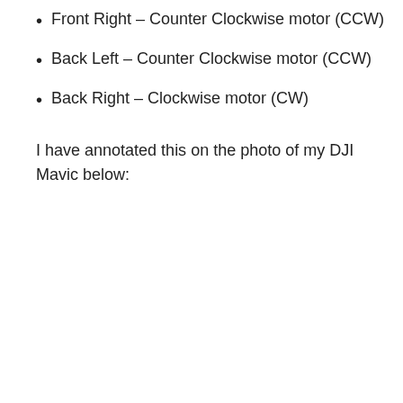Front Right – Counter Clockwise motor (CCW)
Back Left – Counter Clockwise motor (CCW)
Back Right – Clockwise motor (CW)
I have annotated this on the photo of my DJI Mavic below: